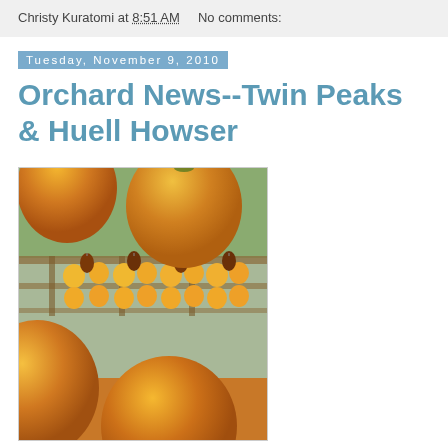Christy Kuratomi at 8:51 AM    No comments:
Tuesday, November 9, 2010
Orchard News--Twin Peaks & Huell Howser
[Figure (photo): Photo of orange persimmons hanging, with rows of persimmons and dried persimmons visible in the background on a wooden structure, outdoor setting]